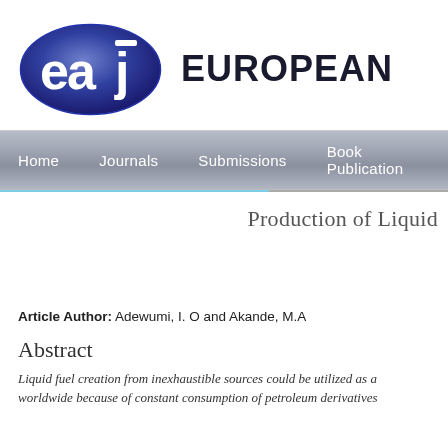[Figure (logo): EAJ logo — blue ellipse with white letters 'eaj' inside, followed by bold text 'EUROPEAN']
Home   Journals   Submissions   Book Publication
Production of Liquid
Article Author: Adewumi, I. O and Akande, M.A
Abstract
Liquid fuel creation from inexhaustible sources could be utilized as a worldwide because of constant consumption of petroleum derivatives